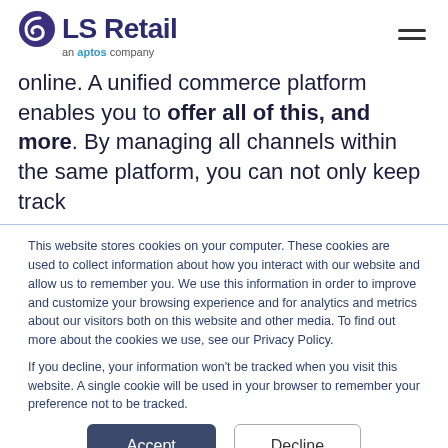LS Retail — an aptos company
online. A unified commerce platform enables you to offer all of this, and more. By managing all channels within the same platform, you can not only keep track
This website stores cookies on your computer. These cookies are used to collect information about how you interact with our website and allow us to remember you. We use this information in order to improve and customize your browsing experience and for analytics and metrics about our visitors both on this website and other media. To find out more about the cookies we use, see our Privacy Policy.

If you decline, your information won't be tracked when you visit this website. A single cookie will be used in your browser to remember your preference not to be tracked.